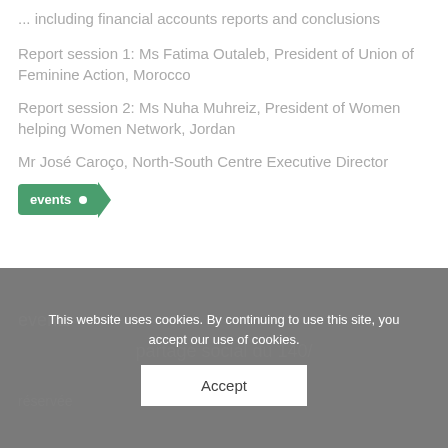... including financial accounts reports and conclusions
Report session 1: Ms Fatima Outaleb, President of Union of Feminine Action, Morocco
Report session 2: Ms Nuha Muhreiz, President of Women helping Women Network, Jordan
Mr José Caroço, North-South Centre Executive Director
events
This website uses cookies. By continuing to use this site, you accept our use of cookies.
Accept